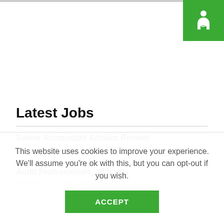[Figure (logo): Green square logo with white stylized person/accessibility icon]
Latest Jobs
Senior Accountant Advisor Remote — Remote • Accountingfly
Audit Professionals, all levels — Remote • Accountingfly
This website uses cookies to improve your experience. We'll assume you're ok with this, but you can opt-out if you wish.
ACCEPT